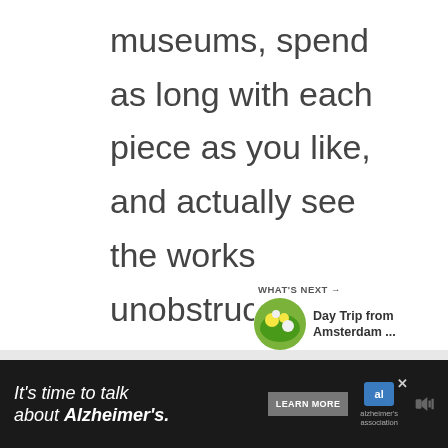museums, spend as long with each piece as you like, and actually see the works unobstructed by cell phones and selfie sticks is more priceless than I would assume a Mona Lisa Frank Trapper Keeper would actually be. (I found it! It's a thing!)
[Figure (screenshot): WHAT'S NEXT arrow widget with thumbnail image showing flowers (Day Trip from Amsterdam ...)]
[Figure (screenshot): Ad banner: It's time to talk about Alzheimer's. LEARN MORE. Alzheimer's Association logo with close and mute buttons.]